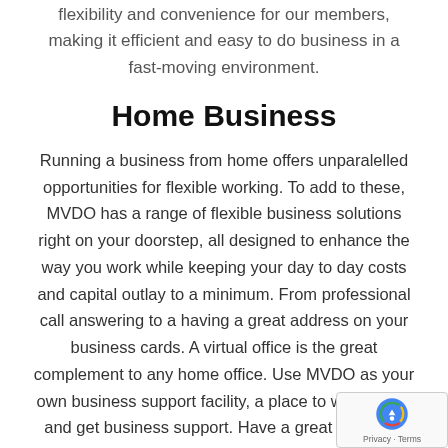flexibility and convenience for our members, making it efficient and easy to do business in a fast-moving environment.
Home Business
Running a business from home offers unparalelled opportunities for flexible working. To add to these, MVDO has a range of flexible business solutions right on your doorstep, all designed to enhance the way you work while keeping your day to day costs and capital outlay to a minimum. From professional call answering to a having a great address on your business cards. A virtual office is the great complement to any home office. Use MVDO as your own business support facility, a place to work, meet and get business support. Have a great professio... alternative to holding business meetings at home, for...